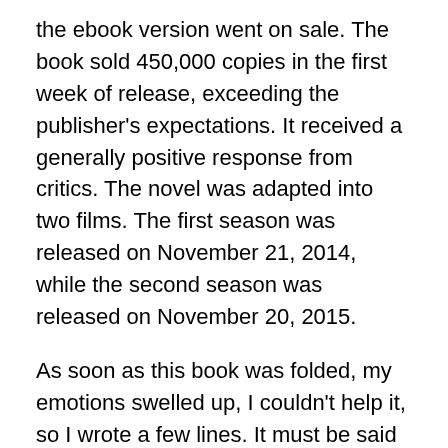the ebook version went on sale. The book sold 450,000 copies in the first week of release, exceeding the publisher's expectations. It received a generally positive response from critics. The novel was adapted into two films. The first season was released on November 21, 2014, while the second season was released on November 20, 2015.
As soon as this book was folded, my emotions swelled up, I couldn't help it, so I wrote a few lines. It must be said that this is the most “brutal but sentimental” episode in the trio of Hunger Games. Perhaps Gale, Katniss, Peeta, and even Prim will live forever in their memories.
Boggs, Finnick, Prim, and everyone died in agony. Not under the meat grinder were the moths, especially Prim’s final death – becoming a burning torch that shook me. Everyone at the Fire Girl died during her assassination of